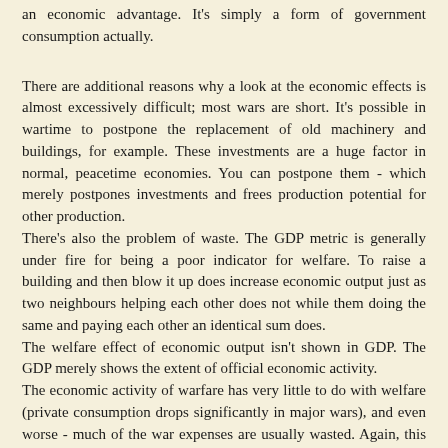an economic advantage. It's simply a form of government consumption actually.
There are additional reasons why a look at the economic effects is almost excessively difficult; most wars are short. It's possible in wartime to postpone the replacement of old machinery and buildings, for example. These investments are a huge factor in normal, peacetime economies. You can postpone them - which merely postpones investments and frees production potential for other production.
There's also the problem of waste. The GDP metric is generally under fire for being a poor indicator for welfare. To raise a building and then blow it up does increase economic output just as two neighbours helping each other does not while them doing the same and paying each other an identical sum does.
The welfare effect of economic output isn't shown in GDP. The GDP merely shows the extent of official economic activity.
The economic activity of warfare has very little to do with welfare (private consumption drops significantly in major wars), and even worse - much of the war expenses are usually wasted. Again, this waste is not being subtracted from the GDP.